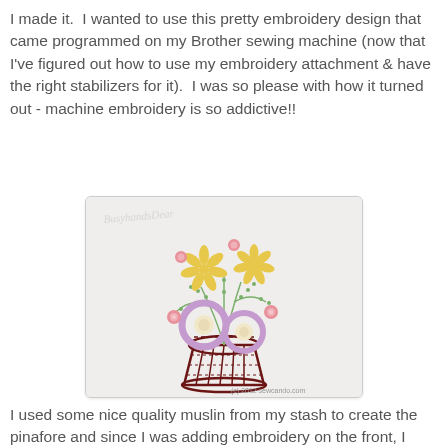I made it.  I wanted to use this pretty embroidery design that came programmed on my Brother sewing machine (now that I've figured out how to use my embroidery attachment & have the right stabilizers for it).  I was so please with how it turned out - machine embroidery is so addictive!!
[Figure (photo): Embroidery design showing a decorative basket with flowers including purple blooms, yellow daisy-like flowers, pink roses, and green stems on white muslin fabric. Watermark reads 'BusyhandsDear' and copyright '(c) 2012 sewcando.com']
I used some nice quality muslin from my stash to create the pinafore and since I was adding embroidery on the front, I